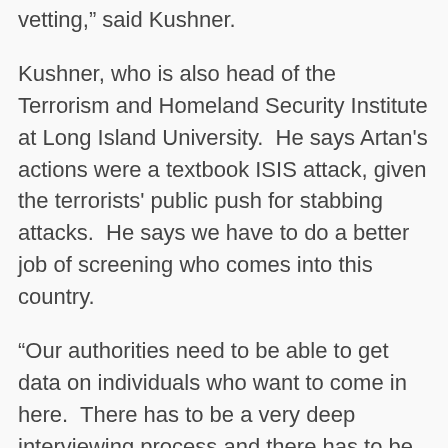vetting," said Kushner.
Kushner, who is also head of the Terrorism and Homeland Security Institute at Long Island University.  He says Artan's actions were a textbook ISIS attack, given the terrorists' public push for stabbing attacks.  He says we have to do a better job of screening who comes into this country.
"Our authorities need to be able to get data on individuals who want to come in here.  There has to be a very deep interviewing process and there has to be some kind of follow-up while they're here.  I'm not saying to pause completely from all areas of the world but some areas are certainly more problematic,"